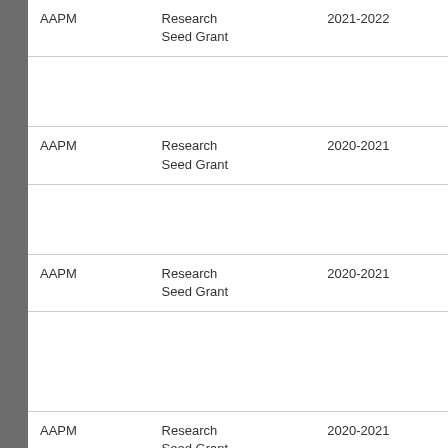| AAPM | Research Seed Grant | 2021-2022 |
| AAPM | Research Seed Grant | 2020-2021 |
| AAPM | Research Seed Grant | 2020-2021 |
| AAPM | Research Seed Grant | 2020-2021 |